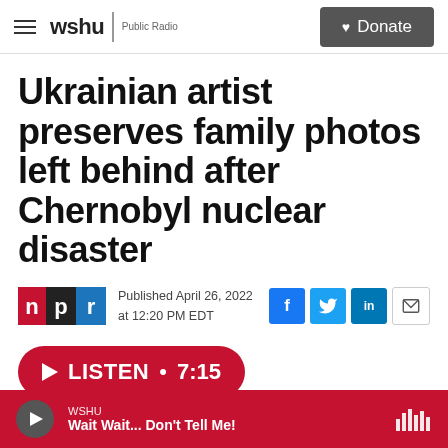wshu | Public Radio — Donate
Ukrainian artist preserves family photos left behind after Chernobyl nuclear disaster
Published April 26, 2022 at 12:20 PM EDT
LISTEN • 7:15
WSHU — Wait Wait... Don't Tell Me!